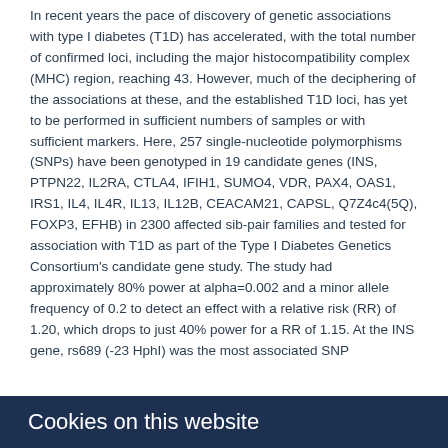In recent years the pace of discovery of genetic associations with type I diabetes (T1D) has accelerated, with the total number of confirmed loci, including the major histocompatibility complex (MHC) region, reaching 43. However, much of the deciphering of the associations at these, and the established T1D loci, has yet to be performed in sufficient numbers of samples or with sufficient markers. Here, 257 single-nucleotide polymorphisms (SNPs) have been genotyped in 19 candidate genes (INS, PTPN22, IL2RA, CTLA4, IFIH1, SUMO4, VDR, PAX4, OAS1, IRS1, IL4, IL4R, IL13, IL12B, CEACAM21, CAPSL, Q7Z4c4(5Q), FOXP3, EFHB) in 2300 affected sib-pair families and tested for association with T1D as part of the Type I Diabetes Genetics Consortium's candidate gene study. The study had approximately 80% power at alpha=0.002 and a minor allele frequency of 0.2 to detect an effect with a relative risk (RR) of 1.20, which drops to just 40% power for a RR of 1.15. At the INS gene, rs689 (-23 HphI) was the most associated SNP
Cookies on this website